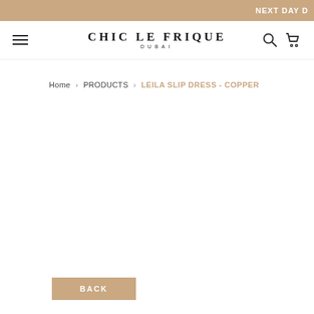NEXT DAY D
[Figure (logo): Chic Le Frique Dubai logo with hamburger menu, search icon, and cart icon in navigation bar]
Home › PRODUCTS › LEILA SLIP DRESS - COPPER
BACK